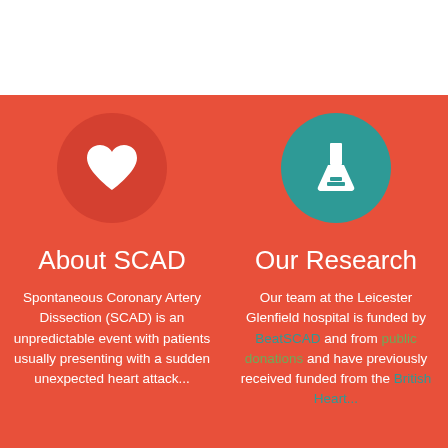[Figure (illustration): White heart icon inside a dark red/salmon circle on red background]
[Figure (illustration): White laboratory flask/beaker icon inside a teal circle on red background]
About SCAD
Our Research
Spontaneous Coronary Artery Dissection (SCAD) is an unpredictable event with patients usually presenting with a sudden unexpected heart attack...
Our team at the Leicester Glenfield hospital is funded by BeatSCAD and from public donations and have previously received funded from the British Heart...